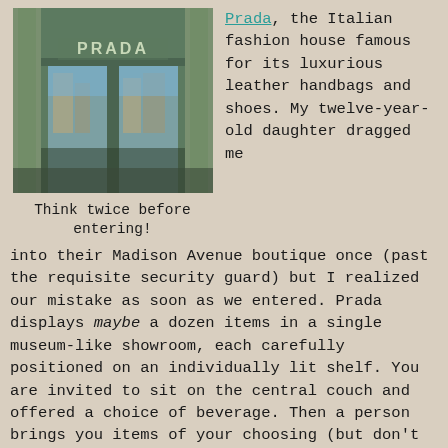[Figure (photo): Photo of a Prada store front showing glass doors with Prada signage, columns, and reflection of buildings in the glass]
Think twice before entering!
Prada, the Italian fashion house famous for its luxurious leather handbags and shoes. My twelve-year-old daughter dragged me into their Madison Avenue boutique once (past the requisite security guard) but I realized our mistake as soon as we entered. Prada displays maybe a dozen items in a single museum-like showroom, each carefully positioned on an individually lit shelf. You are invited to sit on the central couch and offered a choice of beverage. Then a person brings you items of your choosing (but don't touch!). Once I realized Prada purses start at $1,000, I asked my very disappointed